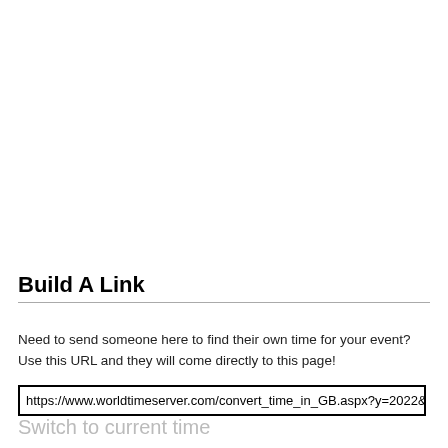Build A Link
Need to send someone here to find their own time for your event? Use this URL and they will come directly to this page!
https://www.worldtimeserver.com/convert_time_in_GB.aspx?y=2022&mo=
Switch to current time